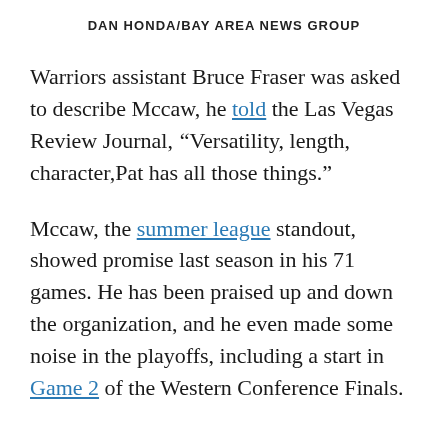DAN HONDA/BAY AREA NEWS GROUP
Warriors assistant Bruce Fraser was asked to describe Mccaw, he told the Las Vegas Review Journal, “Versatility, length, character,Pat has all those things.”
Mccaw, the summer league standout, showed promise last season in his 71 games. He has been praised up and down the organization, and he even made some noise in the playoffs, including a start in Game 2 of the Western Conference Finals.